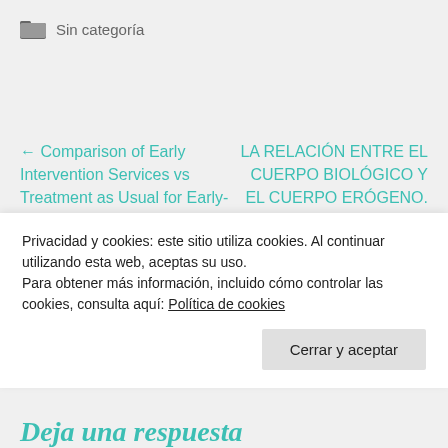Sin categoría
← Comparison of Early Intervention Services vs Treatment as Usual for Early-Phase Psychosis. A Systematic Review, Meta-
LA RELACIÓN ENTRE EL CUERPO BIOLÓGICO Y EL CUERPO ERÓGENO. Por el Dr. Jorge C. Ulnik →
Privacidad y cookies: este sitio utiliza cookies. Al continuar utilizando esta web, aceptas su uso.
Para obtener más información, incluido cómo controlar las cookies, consulta aquí: Política de cookies
Cerrar y aceptar
Deja una respuesta